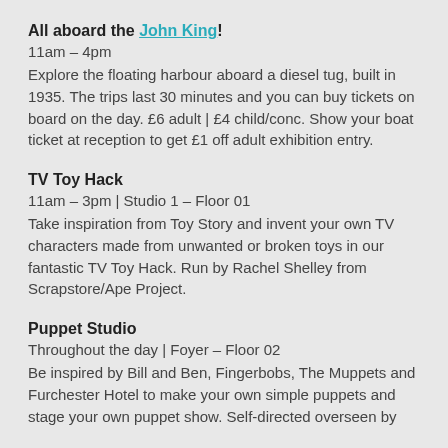All aboard the John King!
11am – 4pm
Explore the floating harbour aboard a diesel tug, built in 1935. The trips last 30 minutes and you can buy tickets on board on the day. £6 adult | £4 child/conc. Show your boat ticket at reception to get £1 off adult exhibition entry.
TV Toy Hack
11am – 3pm | Studio 1 – Floor 01
Take inspiration from Toy Story and invent your own TV characters made from unwanted or broken toys in our fantastic TV Toy Hack. Run by Rachel Shelley from Scrapstore/Ape Project.
Puppet Studio
Throughout the day | Foyer – Floor 02
Be inspired by Bill and Ben, Fingerbobs, The Muppets and Furchester Hotel to make your own simple puppets and stage your own puppet show. Self-directed overseen by